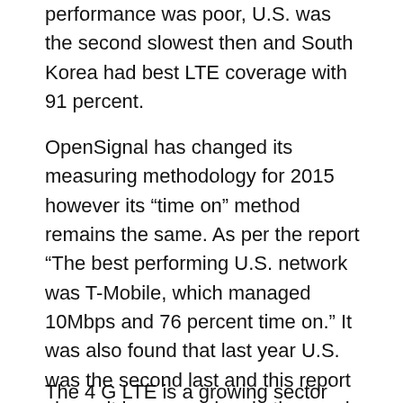performance was poor, U.S. was the second slowest then and South Korea had best LTE coverage with 91 percent.
OpenSignal has changed its measuring methodology for 2015 however its “time on” method remains the same. As per the report “The best performing U.S. network was T-Mobile, which managed 10Mbps and 76 percent time on.” It was also found that last year U.S. was the second last and this report shows it has moved up in the graph, though it still lags in its speed. The 2015 report shows that in terms of coverage U.S. has shown a good performance and has the sixth ranking on the  LTE “time on”.
The 4 G LTE is a growing sector OpenSignal’s survey